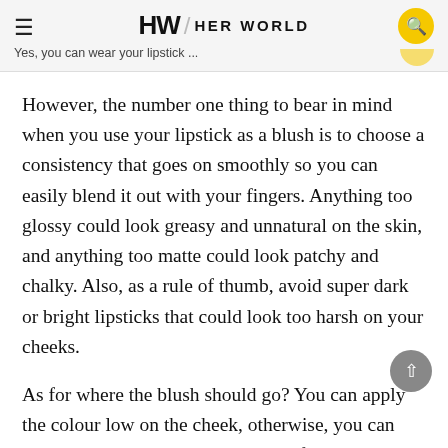HW / HER WORLD | Yes, you can wear your lipstick ...
However, the number one thing to bear in mind when you use your lipstick as a blush is to choose a consistency that goes on smoothly so you can easily blend it out with your fingers. Anything too glossy could look greasy and unnatural on the skin, and anything too matte could look patchy and chalky. Also, as a rule of thumb, avoid super dark or bright lipsticks that could look too harsh on your cheeks.
As for where the blush should go? You can apply the colour low on the cheek, otherwise, you can also pop that colour on the apples of your cheeks and smudge the colour out with your fingertips.
Now that you've got the 411 on how to wear your